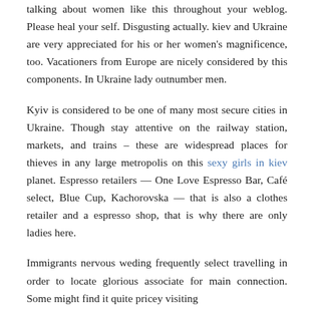talking about women like this throughout your weblog. Please heal your self. Disgusting actually. kiev and Ukraine are very appreciated for his or her women's magnificence, too. Vacationers from Europe are nicely considered by this components. In Ukraine lady outnumber men.
Kyiv is considered to be one of many most secure cities in Ukraine. Though stay attentive on the railway station, markets, and trains – these are widespread places for thieves in any large metropolis on this sexy girls in kiev planet. Espresso retailers — One Love Espresso Bar, Café select, Blue Cup, Kachorovska — that is also a clothes retailer and a espresso shop, that is why there are only ladies here.
Immigrants nervous weding frequently select travelling in order to locate glorious associate for main connection. Some might find it quite pricey visiting